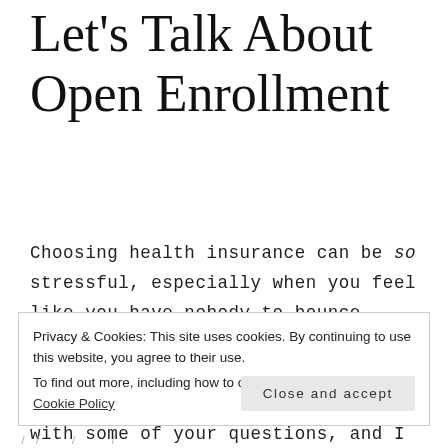Let's Talk About Open Enrollment
Choosing health insurance can be so stressful, especially when you feel like you have nobody to bounce questions or concerns off of. There are some really great resources out there to help you with some of your questions, and I found some great ones for people who are self employed.
Privacy & Cookies: This site uses cookies. By continuing to use this website, you agree to their use. To find out more, including how to control cookies, see here: Cookie Policy
/ / / /